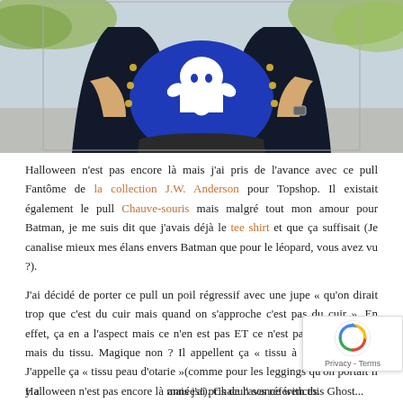[Figure (photo): Person wearing a navy blue ghost-patterned knit sweater under a dark navy double-breasted blazer with gold buttons, standing outdoors with blurred greenery in background]
Halloween n'est pas encore là mais j'ai pris de l'avance avec ce pull Fantôme de la collection J.W. Anderson pour Topshop. Il existait également le pull Chauve-souris mais malgré tout mon amour pour Batman, je me suis dit que j'avais déjà le tee shirt et que ça suffisait (Je canalise mieux mes élans envers Batman que pour le léopard, vous avez vu ?).
J'ai décidé de porter ce pull un poil régressif avec une jupe « qu'on dirait trop que c'est du cuir mais quand on s'approche c'est pas du cuir ». En effet, ça en a l'aspect mais ce n'en est pas ET ce n'est pas du simili cuir mais du tissu. Magique non ? Il appellent ça « tissu à effet mouillé ». J'appelle ça « tissu peau d'otarie »(comme pour les leggings qu'on portait il y a années!). Chacun ses références.
Halloween n'est pas encore là mais j'ai pris de l'avance with this Ghost...